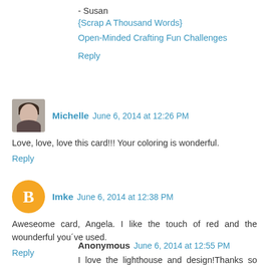- Susan
{Scrap A Thousand Words}
Open-Minded Crafting Fun Challenges
Reply
Michelle  June 6, 2014 at 12:26 PM
Love, love, love this card!!! Your coloring is wonderful.
Reply
Imke  June 6, 2014 at 12:38 PM
Aweseome card, Angela. I like the touch of red and the wounderful you´ve used.
Reply
Anonymous  June 6, 2014 at 12:55 PM
I love the lighthouse and design!Thanks so much for